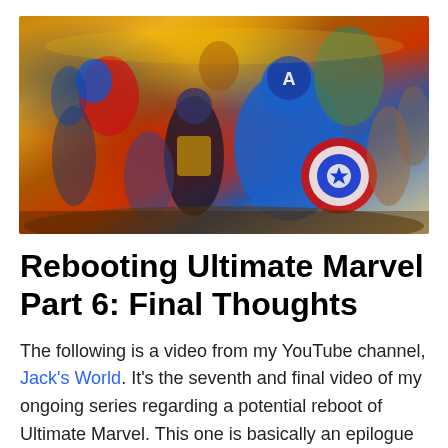[Figure (illustration): Comic book artwork showing a large group of Marvel superheroes including Spider-Man, Captain America with shield, Wolverine, and many others charging forward in a dynamic action pose against a dramatic background.]
Rebooting Ultimate Marvel Part 6: Final Thoughts
The following is a video from my YouTube channel, Jack's World. It's the seventh and final video of my ongoing series regarding a potential reboot of Ultimate Marvel. This one is basically an epilogue and a final overview of